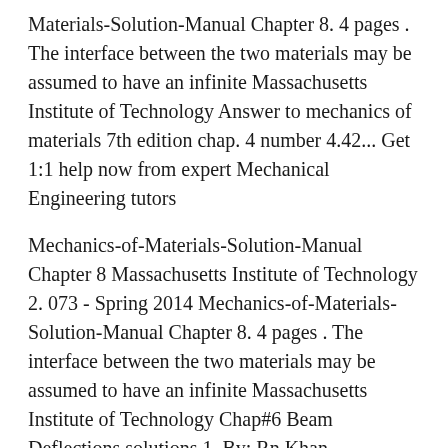Materials-Solution-Manual Chapter 8. 4 pages . The interface between the two materials may be assumed to have an infinite Massachusetts Institute of Technology Answer to mechanics of materials 7th edition chap. 4 number 4.42... Get 1:1 help now from expert Mechanical Engineering tutors
Mechanics-of-Materials-Solution-Manual Chapter 8 Massachusetts Institute of Technology 2. 073 - Spring 2014 Mechanics-of-Materials-Solution-Manual Chapter 8. 4 pages . The interface between the two materials may be assumed to have an infinite Massachusetts Institute of Technology Chap#6 Beam Deflections solutions 1. By: Rn Khan Recommended Brain-Based Elearning Design.